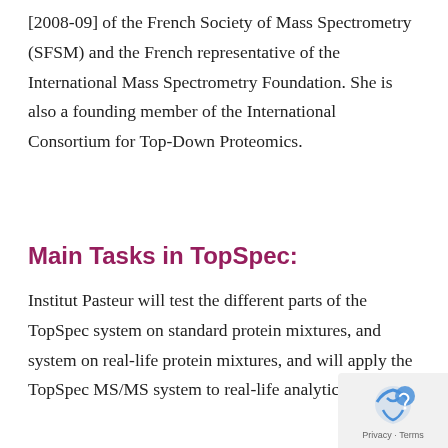[2008-09] of the French Society of Mass Spectrometry (SFSM) and the French representative of the International Mass Spectrometry Foundation. She is also a founding member of the International Consortium for Top-Down Proteomics.
Main Tasks in TopSpec:
Institut Pasteur will test the different parts of the TopSpec system on standard protein mixtures, and system on real-life protein mixtures, and will apply the TopSpec MS/MS system to real-life analytical samples.